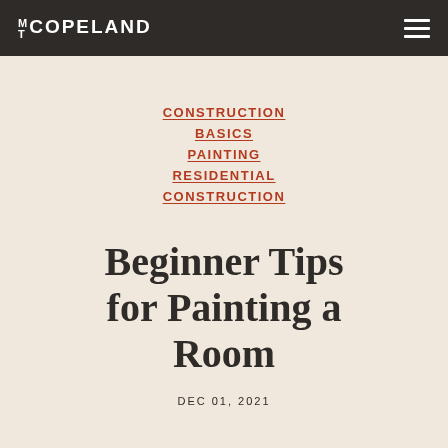MT COPELAND
CONSTRUCTION
BASICS
PAINTING
RESIDENTIAL
CONSTRUCTION
Beginner Tips for Painting a Room
DEC 01, 2021